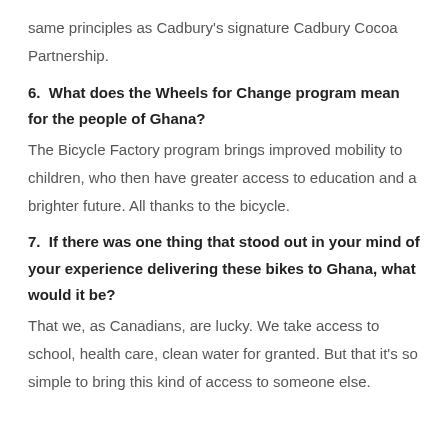same principles as Cadbury's signature Cadbury Cocoa Partnership.
6.  What does the Wheels for Change program mean for the people of Ghana?
The Bicycle Factory program brings improved mobility to children, who then have greater access to education and a brighter future. All thanks to the bicycle.
7.  If there was one thing that stood out in your mind of your experience delivering these bikes to Ghana, what would it be?
That we, as Canadians, are lucky. We take access to school, health care, clean water for granted. But that it's so simple to bring this kind of access to someone else.